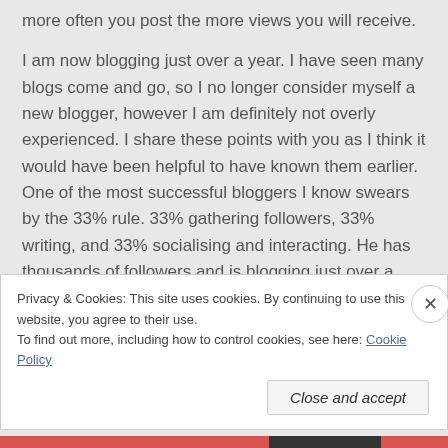more often you post the more views you will receive.
I am now blogging just over a year. I have seen many blogs come and go, so I no longer consider myself a new blogger, however I am definitely not overly experienced. I share these points with you as I think it would have been helpful to have known them earlier. One of the most successful bloggers I know swears by the 33% rule. 33% gathering followers, 33% writing, and 33% socialising and interacting. He has thousands of followers and is blogging just over a year.
Privacy & Cookies: This site uses cookies. By continuing to use this website, you agree to their use.
To find out more, including how to control cookies, see here: Cookie Policy
Close and accept